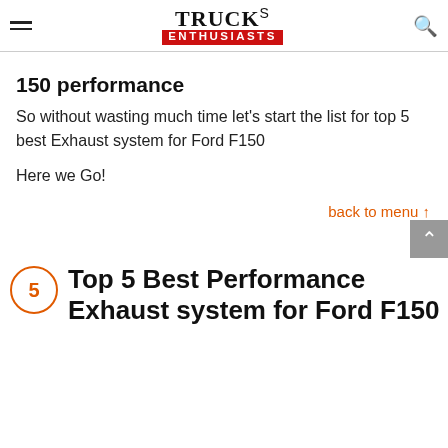TRUCKs ENTHUSIASTS
150 performance
So without wasting much time let’s start the list for top 5 best Exhaust system for Ford F150
Here we Go!
back to menu ↑
5 Top 5 Best Performance Exhaust system for Ford F150